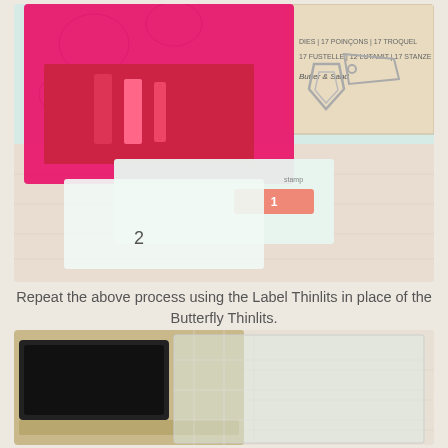[Figure (photo): Pink/hot pink plastic storage box with red interior holders open, showing label dividers numbered 1 and 2 inside, alongside metal die-cut shapes (shield and tag shapes) on a light wooden surface, with a product package visible in the upper right corner]
Repeat the above process using the Label Thinlits in place of the Butterfly Thinlits.
[Figure (photo): Sizzix or similar die-cutting machine in gold/tan color with a black platform visible from above, with a clear acrylic plate on top, on a light surface]